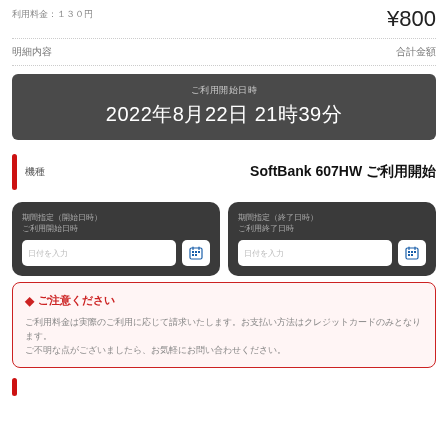ご利用料金：130円
¥800
明細内容
合計金額
ご利用開始日時
2022年8月22日 21時39分
機種
SoftBank 607HW ご利用開始
期間指定（開始日時）
ご利用開始日時
期間指定（終了日時）
ご利用終了日時
◆ご注意ください
ご利用料金は実際のご利用に応じて請求いたします。お支払い方法はクレジットカードのみとなります。
ご不明な点がございましたら、お気軽にお問い合わせください。